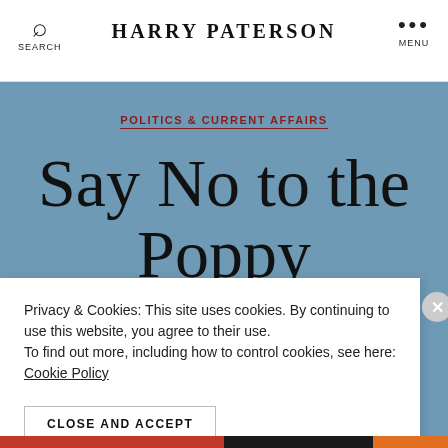Harry Paterson
POLITICS & CURRENT AFFAIRS
Say No to the Poppy
Privacy & Cookies: This site uses cookies. By continuing to use this website, you agree to their use.
To find out more, including how to control cookies, see here:
Cookie Policy
CLOSE AND ACCEPT